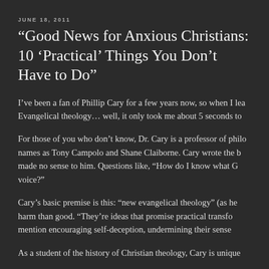JUNE 18, 2011
“Good News for Anxious Christians: 10 ‘Practical’ Things You Don’t Have to Do”
I’ve been a fan of Phillip Cary for a few years now, so when I lea Evangelical theology… well, it only took me about 5 seconds to
For those of you who don’t know, Dr. Cary is a professor of philo names as Tony Campolo and Shane Claiborne. Cary wrote the b made no sense to him. Questions like, “How do I know what G voice?”
Cary’s basic premise is this: “new evangelical theology” (as he harm than good. “They’re ideas that promise practical transfo mention encouraging self-deception, undermining their sense
As a student of the history of Christian theology, Cary is unique